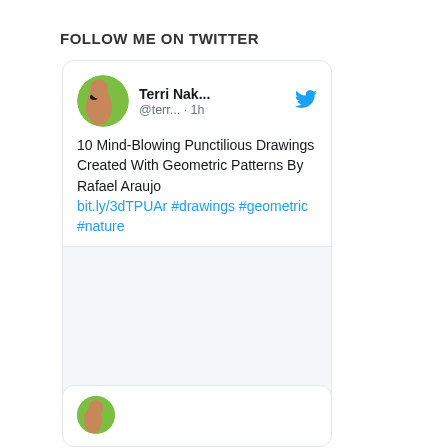FOLLOW ME ON TWITTER
[Figure (screenshot): A Twitter/social media widget showing a tweet by Terri Nak... (@terr...) posted 1h ago. The tweet reads: '10 Mind-Blowing Punctilious Drawings Created With Geometric Patterns By Rafael Araujo bit.ly/3dTPUAr #drawings #geometric #nature'. Below the text is a blank image area. The tweet shows 6 likes. A second partial tweet card is visible at the bottom.]